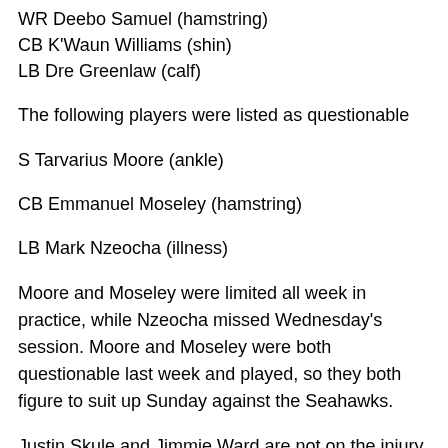WR Deebo Samuel (hamstring)
CB K'Waun Williams (shin)
LB Dre Greenlaw (calf)
The following players were listed as questionable
S Tarvarius Moore (ankle)
CB Emmanuel Moseley (hamstring)
LB Mark Nzeocha (illness)
Moore and Moseley were limited all week in practice, while Nzeocha missed Wednesday's session. Moore and Moseley were both questionable last week and played, so they both figure to suit up Sunday against the Seahawks.
Justin Skule and Jimmie Ward are not on the injury